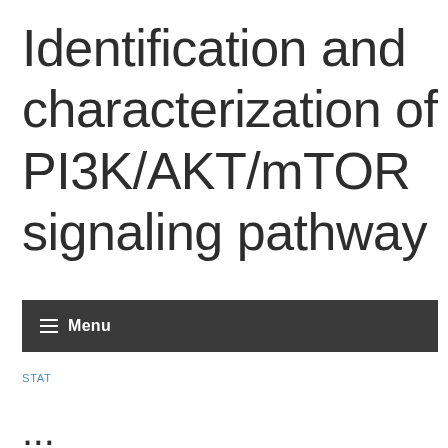Identification and characterization of PI3K/AKT/mTOR signaling pathway
≡ Menu
STAT
...